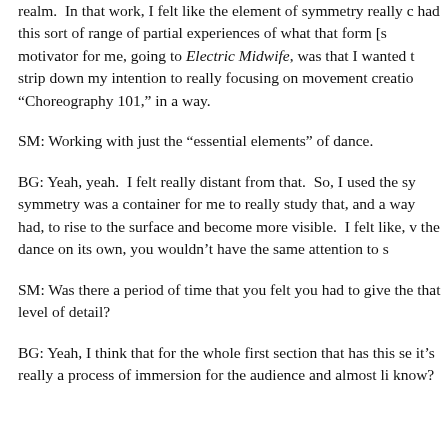realm.  In that work, I felt like the element of symmetry really c had this sort of range of partial experiences of what that form [s motivator for me, going to Electric Midwife, was that I wanted t strip down my intention to really focusing on movement creatio “Choreography 101,” in a way.
SM: Working with just the “essential elements” of dance.
BG: Yeah, yeah.  I felt really distant from that.  So, I used the sy symmetry was a container for me to really study that, and a way had, to rise to the surface and become more visible.  I felt like, v the dance on its own, you wouldn’t have the same attention to s
SM: Was there a period of time that you felt you had to give the that level of detail?
BG: Yeah, I think that for the whole first section that has this se it’s really a process of immersion for the audience and almost li know?